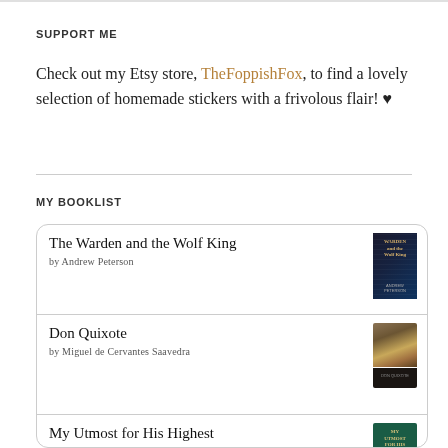SUPPORT ME
Check out my Etsy store, TheFoppishFox, to find a lovely selection of homemade stickers with a frivolous flair! ♥
MY BOOKLIST
The Warden and the Wolf King by Andrew Peterson
Don Quixote by Miguel de Cervantes Saavedra
My Utmost for His Highest by Oswald Chambers